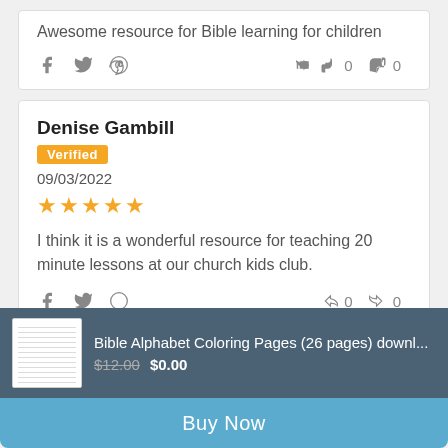Awesome resource for Bible learning for children
reviewer name: Denise Gambill
Verified
09/03/2022
5 stars
I think it is a wonderful resource for teaching 20 minute lessons at our church kids club.
Bible Alphabet Coloring Pages (26 pages) downl...
$12.00  $0.00
Buy Now